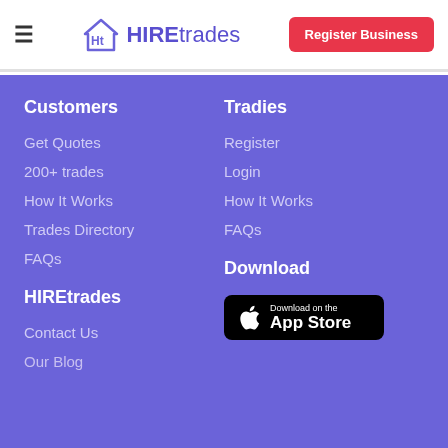HIREtrades — Register Business
Customers
Get Quotes
200+ trades
How It Works
Trades Directory
FAQs
Tradies
Register
Login
How It Works
FAQs
HIREtrades
Contact Us
Download
[Figure (screenshot): Download on the App Store button]